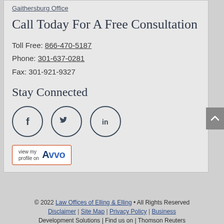Gaithersburg Office
Call Today For A Free Consultation
Toll Free: 866-470-5187
Phone: 301-637-0281
Fax: 301-921-9327
Stay Connected
[Figure (infographic): Three circular social media icons for Facebook (f), Twitter (bird), and LinkedIn (in)]
[Figure (logo): Avvo badge: 'view my profile on Avvo' with red border]
© 2022 Law Offices of Elling & Elling • All Rights Reserved
Disclaimer | Site Map | Privacy Policy | Business
Development Solutions | Find us on | Thomson Reuters